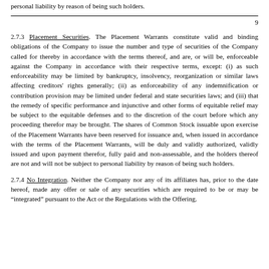personal liability by reason of being such holders.
9
2.7.3 Placement Securities. The Placement Warrants constitute valid and binding obligations of the Company to issue the number and type of securities of the Company called for thereby in accordance with the terms thereof, and are, or will be, enforceable against the Company in accordance with their respective terms, except: (i) as such enforceability may be limited by bankruptcy, insolvency, reorganization or similar laws affecting creditors' rights generally; (ii) as enforceability of any indemnification or contribution provision may be limited under federal and state securities laws; and (iii) that the remedy of specific performance and injunctive and other forms of equitable relief may be subject to the equitable defenses and to the discretion of the court before which any proceeding therefor may be brought. The shares of Common Stock issuable upon exercise of the Placement Warrants have been reserved for issuance and, when issued in accordance with the terms of the Placement Warrants, will be duly and validly authorized, validly issued and upon payment therefor, fully paid and non-assessable, and the holders thereof are not and will not be subject to personal liability by reason of being such holders.
2.7.4 No Integration. Neither the Company nor any of its affiliates has, prior to the date hereof, made any offer or sale of any securities which are required to be or may be "integrated" pursuant to the Act or the Regulations with the Offering.